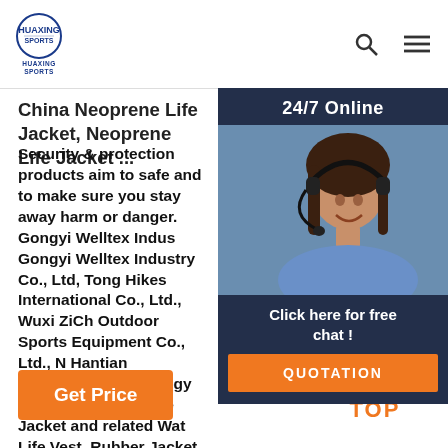HUAXING SPORTS
China Neoprene Life Jacket, Neoprene Life Jacket ...
Security & protection products aim to safe and to make sure you stay away harm or danger. Gongyi Welltex Indus Gongyi Welltex Industry Co., Ltd, Tong Hikes International Co., Ltd., Wuxi ZiCh Outdoor Sports Equipment Co., Ltd., N Hantian Electronics Technology Co., Lt Neoprene Life Jacket and related Wat Life Vest, Rubber Jacket ...
[Figure (photo): Customer service representative with headset, smiling, overlaid on dark blue panel with 24/7 Online text, Click here for free chat, and QUOTATION button]
[Figure (other): TOP back-to-top button with orange arc dots above orange TOP text]